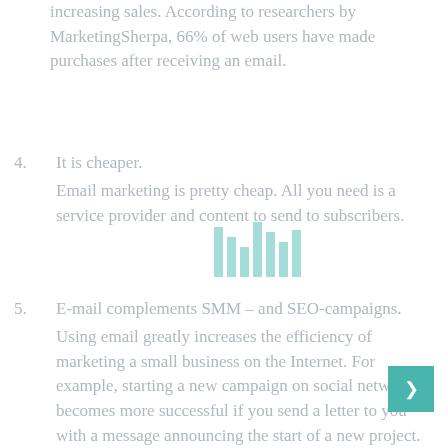increasing sales. According to researchers by MarketingSherpa, 66% of web users have made purchases after receiving an email.
4. It is cheaper.
Email marketing is pretty cheap. All you need is a service provider and content to send to subscribers.
5. E-mail complements SMM – and SEO-campaigns.
Using email greatly increases the efficiency of marketing a small business on the Internet. For example, starting a new campaign on social networks becomes more successful if you send a letter to you with a message announcing the start of a new project.
Despite the fact that to some extent e-mail is an outdated environment, the technical way of using